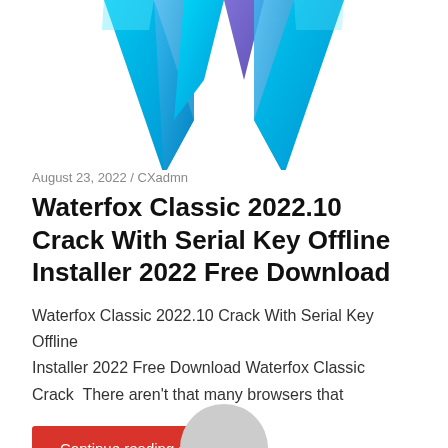[Figure (logo): Waterfox 'W' logo in blue and purple gradient at top of page, partially cropped]
August 23, 2022  /  CXadmn
Waterfox Classic 2022.10 Crack With Serial Key Offline Installer 2022 Free Download
Waterfox Classic 2022.10 Crack With Serial Key Offline Installer 2022 Free Download Waterfox Classic Crack  There aren't that many browsers that
Continue reading »
[Figure (logo): Partial logo visible at bottom center of page, gray circular shape, cropped]